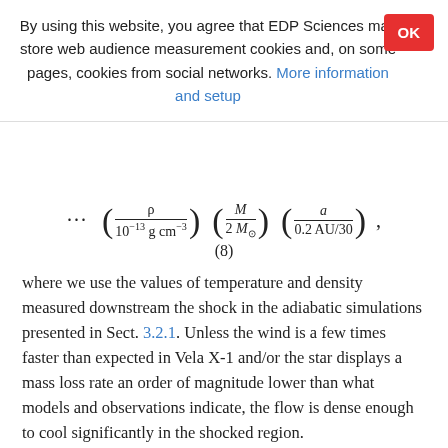By using this website, you agree that EDP Sciences may store web audience measurement cookies and, on some pages, cookies from social networks. More information and setup
where we use the values of temperature and density measured downstream the shock in the adiabatic simulations presented in Sect. 3.2.1. Unless the wind is a few times faster than expected in Vela X-1 and/or the star displays a mass loss rate an order of magnitude lower than what models and observations indicate, the flow is dense enough to cool significantly in the shocked region.
In an optically thin environment, we could in principle include radiative cooling using the module developed